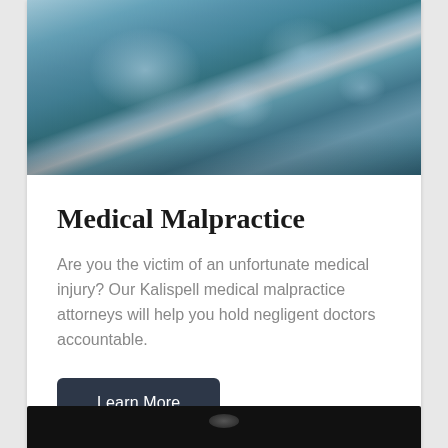[Figure (photo): Surgical team in blue scrubs and gowns performing an operation, viewed from above]
Medical Malpractice
Are you the victim of an unfortunate medical injury? Our Kalispell medical malpractice attorneys will help you hold negligent doctors accountable.
Learn More
[Figure (photo): Bottom dark stripe, partial view of another card below]